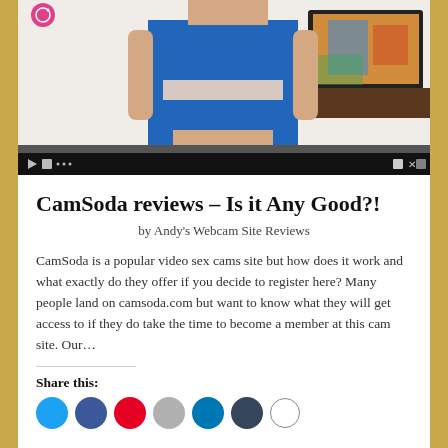[Figure (screenshot): Screenshot of a webcam video showing a woman in a blue outfit. The video has a dark playback control bar at the bottom with play/pause buttons and controls on the right side.]
CamSoda reviews – Is it Any Good?!
by Andy's Webcam Site Reviews
CamSoda is a popular video sex cams site but how does it work and what exactly do they offer if you decide to register here? Many people land on camsoda.com but want to know what they will get access to if they do take the time to become a member at this cam site. Our…
Share this: